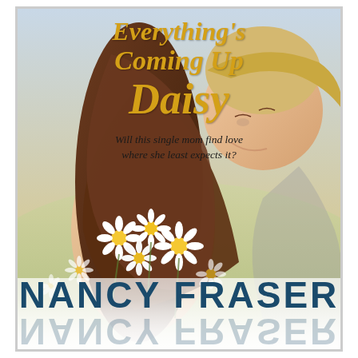[Figure (illustration): Book cover for 'Everything's Coming Up Daisy' by Nancy Fraser. Shows a woman with long brown hair and a young blonde child embracing in a field of white daisy flowers. The title is in gold italic script at the top, with a tagline in dark italic text. The author name appears in large bold dark teal letters at the bottom with a reflection effect.]
Everything's Coming Up Daisy
Will this single mom find love where she least expects it?
NANCY FRASER